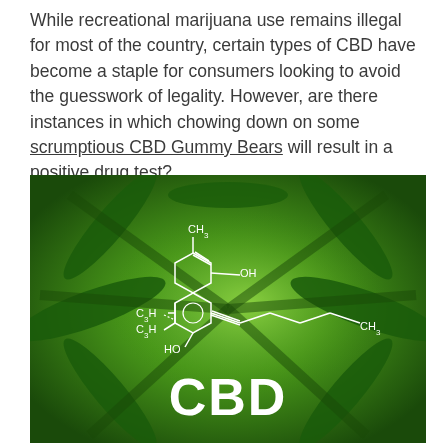While recreational marijuana use remains illegal for most of the country, certain types of CBD have become a staple for consumers looking to avoid the guesswork of legality. However, are there instances in which chowing down on some scrumptious CBD Gummy Bears will result in a positive drug test?
[Figure (photo): Close-up photo of a cannabis plant with bright green leaves and the CBD chemical structure diagram overlaid in white, showing CH3, OH, C3H, HO groups connected in a molecular diagram. The word 'CBD' is displayed in large white bold text at the bottom center of the image.]